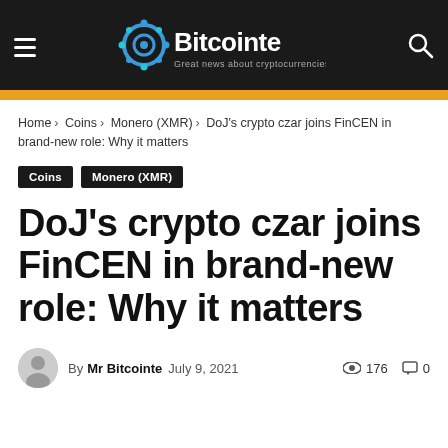Bitcointe — Great news about cryptocurrencies
Home › Coins › Monero (XMR) › DoJ's crypto czar joins FinCEN in brand-new role: Why it matters
Coins   Monero (XMR)
DoJ's crypto czar joins FinCEN in brand-new role: Why it matters
By Mr Bitcointe July 9, 2021   176   0